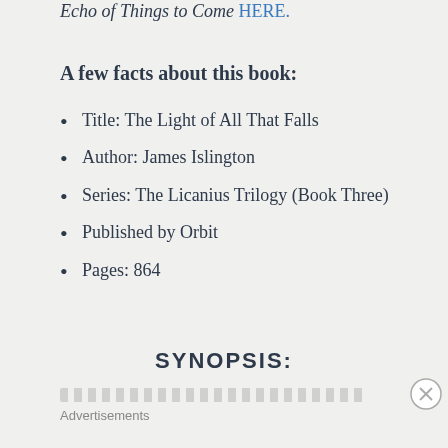Echo of Things to Come HERE.
A few facts about this book:
Title: The Light of All That Falls
Author: James Islington
Series: The Licanius Trilogy (Book Three)
Published by Orbit
Pages: 864
SYNOPSIS:
Advertisements